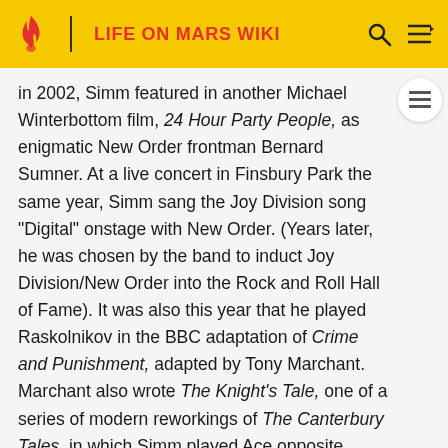LIFE ON MARS WIKI
in 2002, Simm featured in another Michael Winterbottom film, 24 Hour Party People, as enigmatic New Order frontman Bernard Sumner. At a live concert in Finsbury Park the same year, Simm sang the Joy Division song "Digital" onstage with New Order. (Years later, he was chosen by the band to induct Joy Division/New Order into the Rock and Roll Hall of Fame). It was also this year that he played Raskolnikov in the BBC adaptation of Crime and Punishment, adapted by Tony Marchant. Marchant also wrote The Knight's Tale, one of a series of modern reworkings of The Canterbury Tales, in which Simm played Ace opposite Chiwetel Ejiofor and Keeley Hawes. Later that year he starred opposite Christina Ricci and John Hurt in the film Miranda.